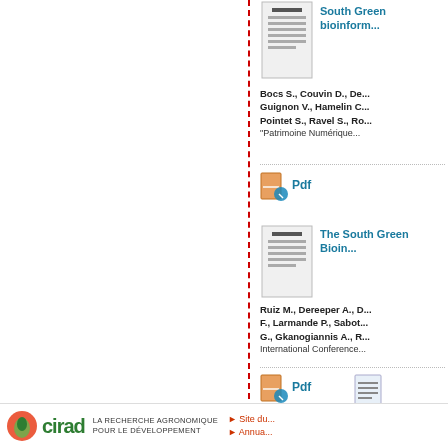[Figure (screenshot): Document thumbnail icon for first publication (South Green bioinformatics)]
South Green bioinform...
Bocs S., Couvin D., De... Guignon V., Hamelin C... Pointet S., Ravel S., Ro... "Patrimoine Numérique...
Pdf
[Figure (screenshot): Document thumbnail icon for second publication (The South Green Bioin...)]
The South Green Bioin...
Ruiz M., Dereeper A., D... F., Larmande P., Sabot... G., Gkanogiannis A., R... International Conference...
Pdf
[Figure (screenshot): Document thumbnail icon for TOGGLE-3 publication]
TOGGLE-3: A Framewo...
Tranchant-Dubreuil C.,...
En cliquant sur [Accepter], vous autorisez l'utilisation des cookies qui analysent la fréquentation du site. Vous pouvez aussi refuser leur utilisation en cliquant sur [Refuser] :
En savoir plus
Refuser
Accepter
[Figure (logo): Cirad logo with leaf/circle icon and text 'cirad']
LA RECHERCHE AGRONOMIQUE POUR LE DÉVELOPPEMENT
▶ Site du...
▶ Annua...